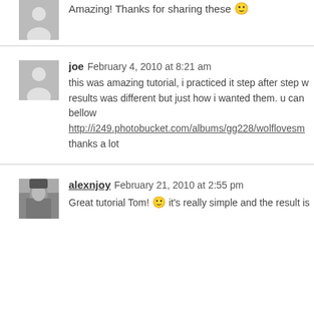Amazing! Thanks for sharing these 🙂
joe February 4, 2010 at 8:21 am
this was amazing tutorial, i practiced it step after step w results was different but just how i wanted them. u can bellow
http://i249.photobucket.com/albums/gg228/wolflovesm
thanks a lot
alexnjoy February 21, 2010 at 2:55 pm
Great tutorial Tom! 🙂 it's really simple and the result is